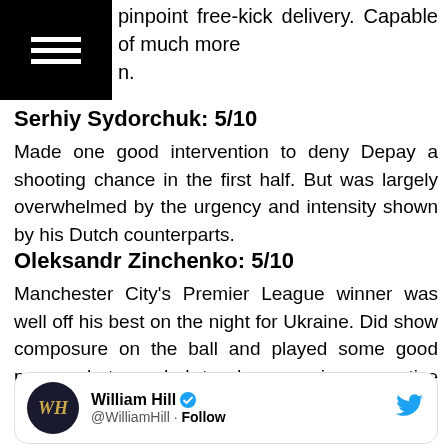[Figure (other): Black navigation bar with hamburger menu icon (three white horizontal lines)]
pinpoint free-kick delivery. Capable of much more than.
Serhiy Sydorchuk: 5/10
Made one good intervention to deny Depay a shooting chance in the first half. But was largely overwhelmed by the urgency and intensity shown by his Dutch counterparts.
Oleksandr Zinchenko: 5/10
Manchester City's Premier League winner was well off his best on the night for Ukraine. Did show composure on the ball and played some good passes but needed to do more in a creative sense. Lost his man for the winning goal.
Andriy Yarmolenko: 7/10
[Figure (other): Twitter card embed for William Hill (@WilliamHill) with Follow button]